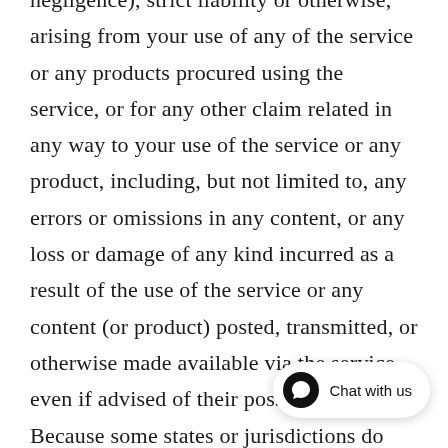negligence), strict liability or otherwise, arising from your use of any of the service or any products procured using the service, or for any other claim related in any way to your use of the service or any product, including, but not limited to, any errors or omissions in any content, or any loss or damage of any kind incurred as a result of the use of the service or any content (or product) posted, transmitted, or otherwise made available via the service, even if advised of their possibility. Because some states or jurisdictions do not allow the exclusion or the limitation of liability for consequential or